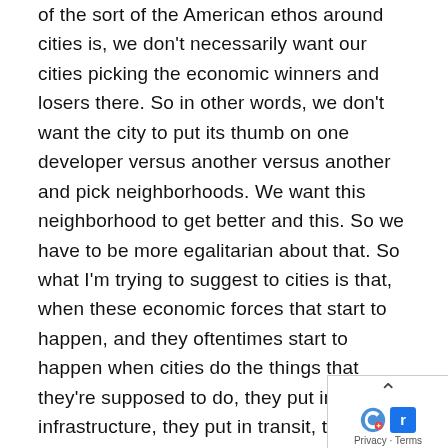of the sort of the American ethos around cities is, we don't necessarily want our cities picking the economic winners and losers there. So in other words, we don't want the city to put its thumb on one developer versus another versus another and pick neighborhoods. We want this neighborhood to get better and this. So we have to be more egalitarian about that. So what I'm trying to suggest to cities is that, when these economic forces that start to happen, and they oftentimes start to happen when cities do the things that they're supposed to do, they put in better infrastructure, they put in transit, they put in a park, all of these things can actually be catalysts for this idea of gentrification. But what are we supposed to do as a city? We're supposed to not put in transportation and parks, and securities? No, of course not. The gotta do that. But what cities can legitimately do, I
[Figure (other): Partially visible reCAPTCHA / Google privacy widget overlay in the bottom-right corner with an up-arrow chevron, reCAPTCHA logo, and 'Privacy · Terms' text.]